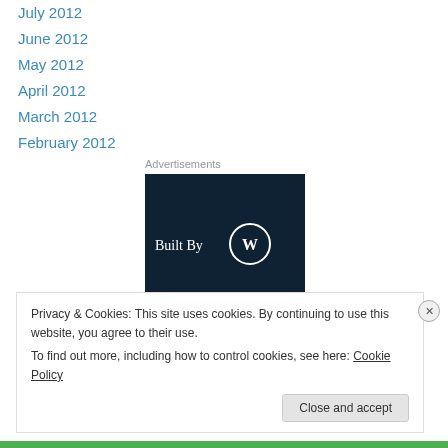July 2012
June 2012
May 2012
April 2012
March 2012
February 2012
Advertisements
[Figure (logo): Built By WordPress logo on dark navy background]
Privacy & Cookies: This site uses cookies. By continuing to use this website, you agree to their use.
To find out more, including how to control cookies, see here: Cookie Policy
Close and accept